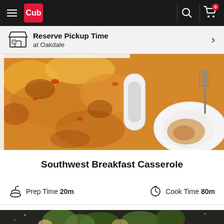Cub — navigation bar with hamburger menu, Cub logo, search icon, cart (0)
Reserve Pickup Time at Oakdale
[Figure (photo): Close-up photo of Southwest Breakfast Casserole in a white baking dish with melted cheese on top, with a serving plate and fork on the side on a wooden surface]
Southwest Breakfast Casserole
Prep Time 20m    Cook Time 80m
[Figure (photo): Photo of Brussels sprouts pasta dish in a dark pan on a grey speckled surface, partially visible at bottom of page]